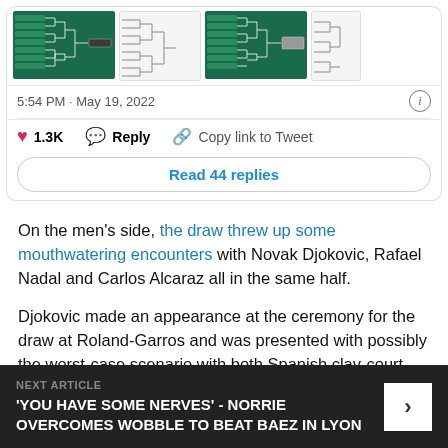[Figure (screenshot): Tweet card with tournament bracket images, timestamp, like/reply actions, and Read 44 replies button]
On the men's side, the draw threw up some mouthwatering encounters with Novak Djokovic, Rafael Nadal and Carlos Alcaraz all in the same half.
Djokovic made an appearance at the ceremony for the draw at Roland-Garros and was presented with possibly the worst-case scenario with both Spanish clay-court supremos on his side of the draw.
NEXT ARTICLE
'YOU HAVE SOME NERVES' - NORRIE OVERCOMES WOBBLE TO BEAT BAEZ IN LYON